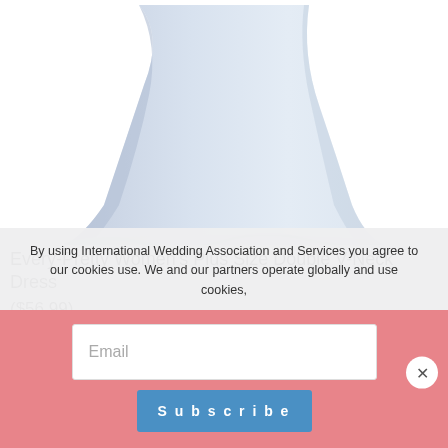[Figure (photo): Cropped bottom portion of a light blue/grey flowing dress on white background]
Every-Pretty Women’s Plus Size Double V-Neck Dress
($56.99)
[Figure (photo): Woman with brown wavy hair posing in front of grey background, wearing a dress, hand raised near face]
By using International Wedding Association and Services you agree to our cookies use. We and our partners operate globally and use cookies,
Email
Subscribe